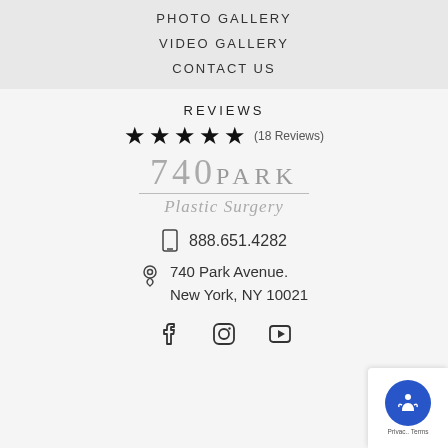PHOTO GALLERY
VIDEO GALLERY
CONTACT US
REVIEWS
★★★★★ (18 Reviews)
[Figure (logo): 740 PARK Plastic Surgery logo with decorative divider line]
888.651.4282
740 Park Avenue.
New York, NY 10021
[Figure (illustration): Social media icons: Facebook, Instagram, YouTube]